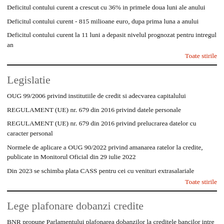Deficitul contului curent a crescut cu 36% in primele doua luni ale anului
Deficitul contului curent - 815 milioane euro, dupa prima luna a anului
Deficitul contului curent la 11 luni a depasit nivelul prognozat pentru intregul an
Toate stirile
Legislatie
OUG 99/2006 privind institutiile de credit si adecvarea capitalului
REGULAMENT (UE) nr. 679 din 2016 privind datele personale
REGULAMENT (UE) nr. 679 din 2016 privind prelucrarea datelor cu caracter personal
Normele de aplicare a OUG 90/2022 privind amanarea ratelor la credite, publicate in Monitorul Oficial din 29 iulie 2022
Din 2023 se schimba plata CASS pentru cei cu venituri extrasalariale
Toate stirile
Lege plafonare dobanzi credite
BNR propune Parlamentului plafonarea dobanzilor la creditele bancilor intre 1,5 si 4 ori peste DAE medie, in functie de tipul creditului; in cazul IFN-urilor, plafonarea dobanzilor nu se justifica
Legile privind plafonarea dobanzilor la credite si a datoriilor preluate de firmele de recuperare se discuta in Parlament (actualizat)